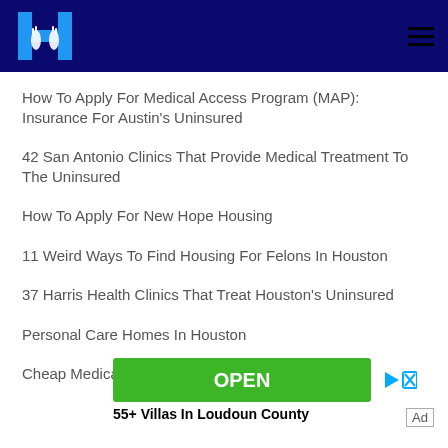H logo with hamburger menu
How To Apply For Medical Access Program (MAP): Insurance For Austin's Uninsured
42 San Antonio Clinics That Provide Medical Treatment To The Uninsured
How To Apply For New Hope Housing
11 Weird Ways To Find Housing For Felons In Houston
37 Harris Health Clinics That Treat Houston's Uninsured
Personal Care Homes In Houston
Cheap Medical Transportation in Houston
[Figure (screenshot): Advertisement banner with green OPEN button and '55+ Villas In Loudoun County' text]
Ad